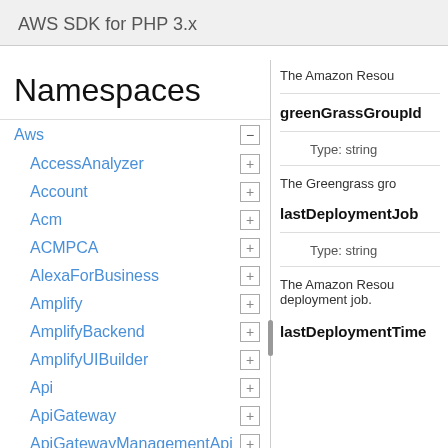AWS SDK for PHP 3.x
Namespaces
Aws
AccessAnalyzer
Account
Acm
ACMPCA
AlexaForBusiness
Amplify
AmplifyBackend
AmplifyUIBuilder
Api
ApiGateway
ApiGatewayManagementApi
The Amazon Resou...
greenGrassGroupId
Type: string
The Greengrass gro...
lastDeploymentJob
Type: string
The Amazon Resou... deployment job.
lastDeploymentTime